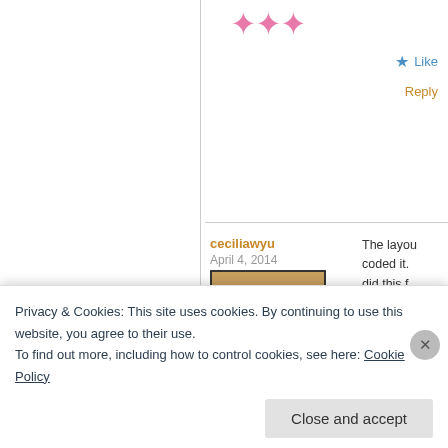[Figure (illustration): Decorative pink bow/star shapes at top center]
Like
Reply
ceciliawyu
April 4, 2014
[Figure (photo): Avatar photo of a person holding a cat, square with dark border]
The layou coded it. did this f
Like
Reply
Habibi
November 23, 2013
An interesting disc ignore all else. Che
Privacy & Cookies: This site uses cookies. By continuing to use this website, you agree to their use.
To find out more, including how to control cookies, see here: Cookie Policy
Close and accept